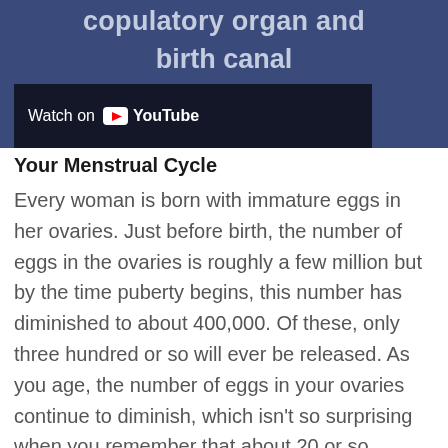[Figure (screenshot): YouTube video thumbnail showing text 'copulatory organ and birth canal' with a Watch on YouTube overlay bar]
Your Menstrual Cycle
Every woman is born with immature eggs in her ovaries. Just before birth, the number of eggs in the ovaries is roughly a few million but by the time puberty begins, this number has diminished to about 400,000. Of these, only three hundred or so will ever be released. As you age, the number of eggs in your ovaries continue to diminish, which isn't so surprising when you remember that about 20 or so immature eggs begin to develop and